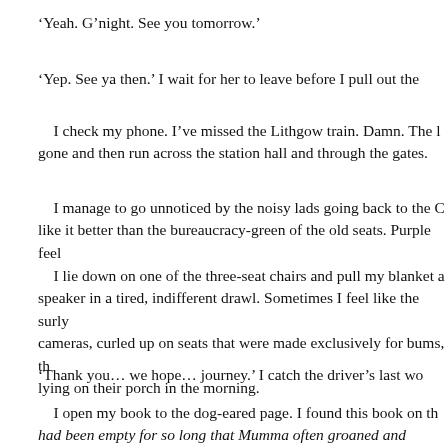‘Yeah. G’night. See you tomorrow.’
‘Yep. See ya then.’ I wait for her to leave before I pull out the
I check my phone. I’ve missed the Lithgow train. Damn. The l gone and then run across the station hall and through the gates.
I manage to go unnoticed by the noisy lads going back to the C like it better than the bureaucracy-green of the old seats. Purple feel
I lie down on one of the three-seat chairs and pull my blanket a speaker in a tired, indifferent drawl. Sometimes I feel like the surly cameras, curled up on seats that were made exclusively for bums, th lying on their porch in the morning.
‘Thank you… we hope… journey.’ I catch the driver’s last wo
I open my book to the dog-eared page. I found this book on th had been empty for so long that Mumma often groaned and grunted